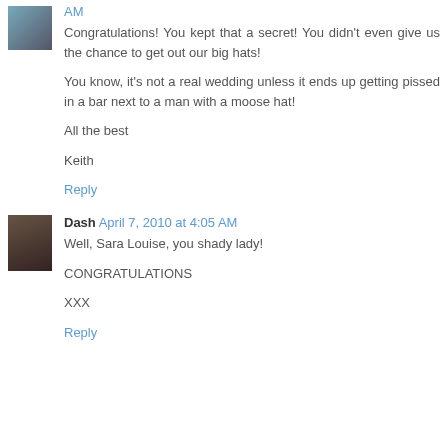AM
Congratulations! You kept that a secret! You didn't even give us the chance to get out our big hats!

You know, it's not a real wedding unless it ends up getting pissed in a bar next to a man with a moose hat!

All the best

Keith
Reply
Dash April 7, 2010 at 4:05 AM
Well, Sara Louise, you shady lady!

CONGRATULATIONS

XXX
Reply